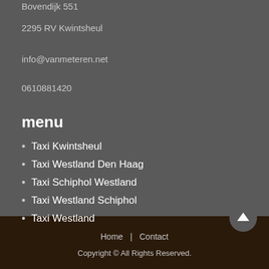Bovendijk 551
2295 RV Kwintsheul
info@vanmeteren.net
0610881420
menu
Taxi Kwintsheul
Taxi Westland Den Haag
Taxi Schiphol Westland
Taxi Westland Schiphol
Taxi Westland
Home | Contact
Copyright © All Rights Reserved.